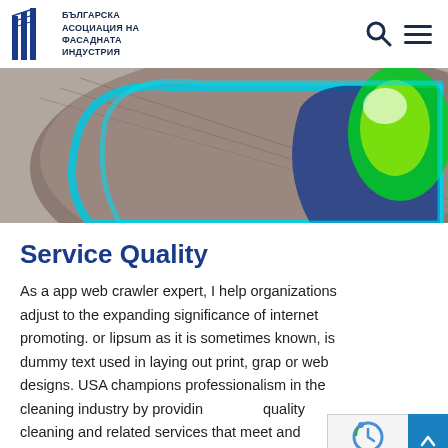БЪЛГАРСКА АСОЦИАЦИЯ НА ФАСАДНАТА ИНДУСТРИЯ
[Figure (photo): Close-up photo of a cylindrical facade material cross-section showing fabric-like brown exterior, blue interior layer, and bright green/yellow material, with cyan border, partially cropped at top.]
Service Quality
As a app web crawler expert, I help organizations adjust to the expanding significance of internet promoting. or lipsum as it is sometimes known, is dummy text used in laying out print, grap or web designs. USA champions professionalism in the cleaning industry by providing quality cleaning and related services that meet and the expectations of today's demanding corporate